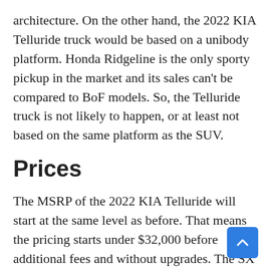architecture. On the other hand, the 2022 KIA Telluride truck would be based on a unibody platform. Honda Ridgeline is the only sporty pickup in the market and its sales can't be compared to BoF models. So, the Telluride truck is not likely to happen, or at least not based on the same platform as the SUV.
Prices
The MSRP of the 2022 KIA Telluride will start at the same level as before. That means the pricing starts under $32,000 before additional fees and without upgrades. The SX adds more than $1 in features. The mid-range offer includes the